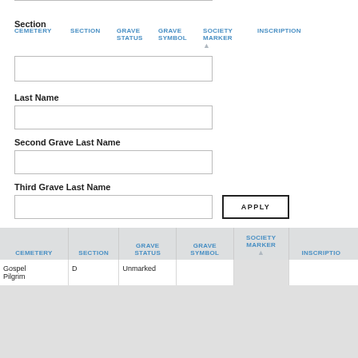Section
| CEMETERY | SECTION | GRAVE STATUS | GRAVE SYMBOL | SOCIETY MARKER | INSCRIPTION |
| --- | --- | --- | --- | --- | --- |
Last Name
Second Grave Last Name
Third Grave Last Name
APPLY
| CEMETERY | SECTION | GRAVE STATUS | GRAVE SYMBOL | SOCIETY MARKER | INSCRIPTION |
| --- | --- | --- | --- | --- | --- |
| Gospel Pilgrim | D | Unmarked |  |  |  |